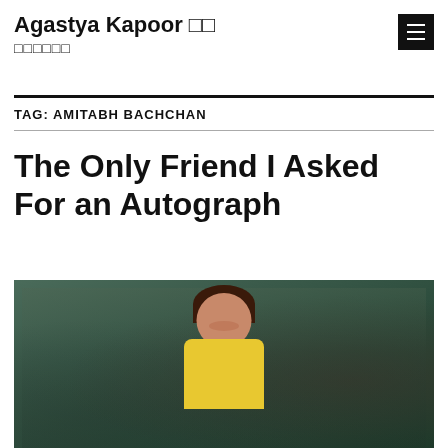Agastya Kapoor □□ □□□□□□
TAG: AMITABH BACHCHAN
The Only Friend I Asked For an Autograph
[Figure (photo): A woman with dark curly hair wearing a yellow top, smiling, with a dark greenish background]